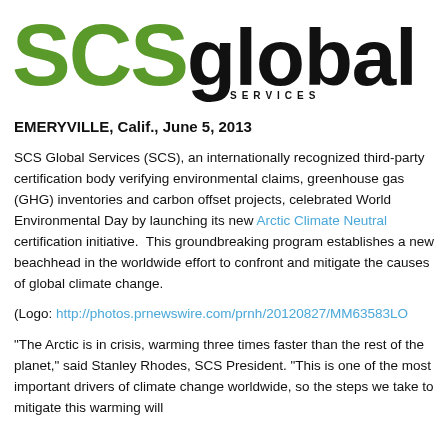[Figure (logo): SCS Global Services logo with green 'SCS' and black 'global' text]
EMERYVILLE, Calif., June 5, 2013
SCS Global Services (SCS), an internationally recognized third-party certification body verifying environmental claims, greenhouse gas (GHG) inventories and carbon offset projects, celebrated World Environmental Day by launching its new Arctic Climate Neutral certification initiative.  This groundbreaking program establishes a new beachhead in the worldwide effort to confront and mitigate the causes of global climate change.
(Logo: http://photos.prnewswire.com/prnh/20120827/MM63583LO
"The Arctic is in crisis, warming three times faster than the rest of the planet," said Stanley Rhodes, SCS President. "This is one of the most important drivers of climate change worldwide, so the steps we take to mitigate this warming will